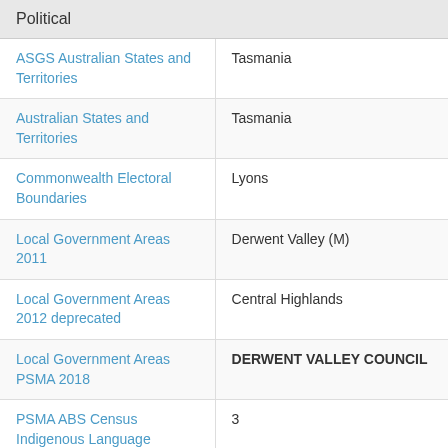Political
| Category | Value |
| --- | --- |
| ASGS Australian States and Territories | Tasmania |
| Australian States and Territories | Tasmania |
| Commonwealth Electoral Boundaries | Lyons |
| Local Government Areas 2011 | Derwent Valley (M) |
| Local Government Areas 2012 deprecated | Central Highlands |
| Local Government Areas PSMA 2018 | DERWENT VALLEY COUNCIL |
| PSMA ABS Census Indigenous Language Speakers by Area - I01B (2016) | 3 |
| PSMA ABS Census Selected Person Characteristics by Indigenous Status by Area - | 1233 |